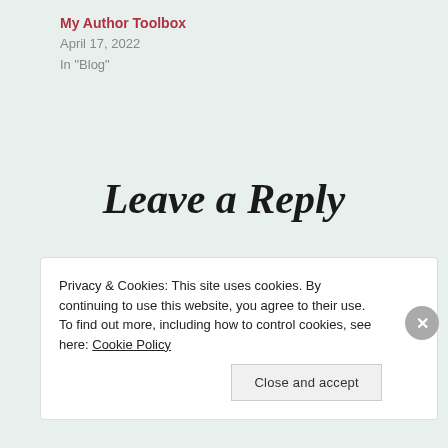My Author Toolbox
April 17, 2022
In "Blog"
Leave a Reply
Privacy & Cookies: This site uses cookies. By continuing to use this website, you agree to their use.
To find out more, including how to control cookies, see here: Cookie Policy
Close and accept